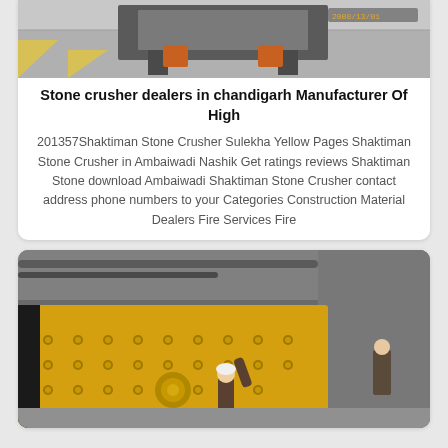[Figure (photo): Industrial stone crusher or conveyor equipment in a warehouse/factory setting, viewed from front angle on concrete floor with yellow diagonal markings.]
Stone crusher dealers in chandigarh Manufacturer Of High
201357Shaktiman Stone Crusher Sulekha Yellow Pages Shaktiman Stone Crusher in Ambaiwadi Nashik Get ratings reviews Shaktiman Stone download Ambaiwadi Shaktiman Stone Crusher contact address phone numbers to your Categories Construction Material Dealers Fire Services Fire
[Figure (photo): Large yellow industrial vibrating screen/sieve machinery being inspected by a worker in a hard hat inside a factory building.]